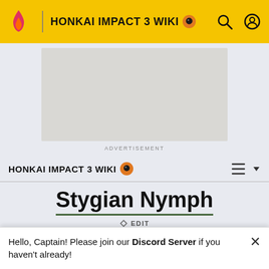HONKAI IMPACT 3 WIKI
[Figure (screenshot): Advertisement placeholder box]
ADVERTISEMENT
HONKAI IMPACT 3 WIKI
Stygian Nymph
✏ EDIT
Hello, Captain! Please join our Discord Server if you haven't already!